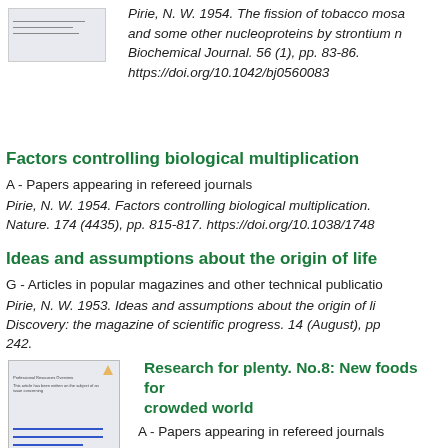[Figure (other): Thumbnail image of a document page]
Pirie, N. W. 1954. The fission of tobacco mosaic and some other nucleoproteins by strontium n... Biochemical Journal. 56 (1), pp. 83-86. https://doi.org/10.1042/bj0560083
Factors controlling biological multiplication
A - Papers appearing in refereed journals
Pirie, N. W. 1954. Factors controlling biological multiplication. Nature. 174 (4435), pp. 815-817. https://doi.org/10.1038/1748...
Ideas and assumptions about the origin of life
G - Articles in popular magazines and other technical publications
Pirie, N. W. 1953. Ideas and assumptions about the origin of li... Discovery: the magazine of scientific progress. 14 (August), pp. 242.
[Figure (other): Thumbnail image of a document page with blue underlines]
Research for plenty. No.8: New foods for a crowded world
A - Papers appearing in refereed journals
Pirie, N. W. 1953. Research for plenty. No.8: New foods for a crowded world. Agriculture: the jo...